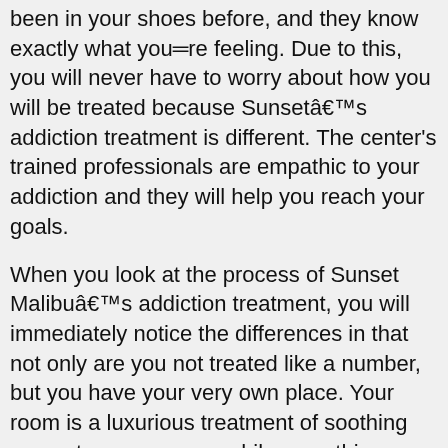been in your shoes before, and they know exactly what you're feeling. Due to this, you will never have to worry about how you will be treated because Sunsetâ€™s addiction treatment is different. The center's trained professionals are empathic to your addiction and they will help you reach your goals.
When you look at the process of Sunset Malibuâ€™s addiction treatment, you will immediately notice the differences in that not only are you not treated like a number, but you have your very own place. Your room is a luxurious treatment of soothing peace to your senses while everything around the centerâ€™s location is set up to help our private drug rehab program.
The best drug drug rehab programs are those which go the extra mile for addiction recovery patients. You will find something different with Sunset Malibu that will help